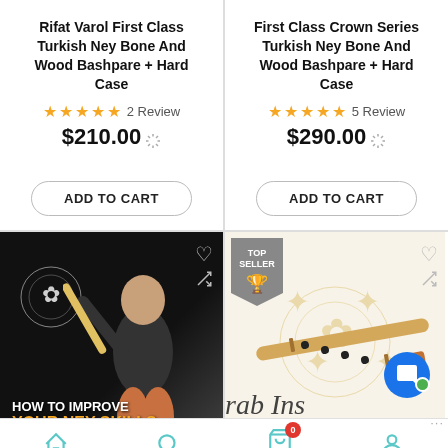Rifat Varol First Class Turkish Ney Bone And Wood Bashpare + Hard Case
★★★★★ 2 Review
$210.00
ADD TO CART
First Class Crown Series Turkish Ney Bone And Wood Bashpare + Hard Case
★★★★★ 5 Review
$290.00
ADD TO CART
[Figure (photo): Promotional image: How to Improve Your Ney Skills - man playing ney flute on dark background with decorative ornament]
[Figure (photo): Product image: bamboo flute on decorative paper background with TOP SELLER badge]